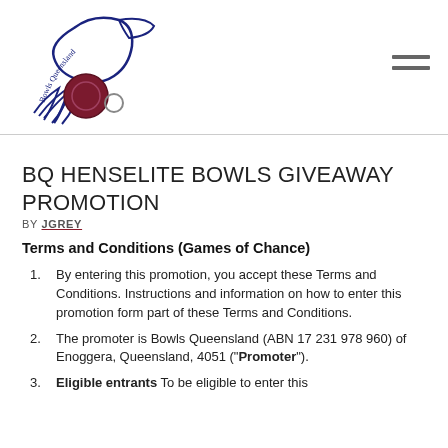[Figure (logo): Bowls Queensland logo — stylized bird with bowling ball, blue and dark red/maroon, with text 'Bowls Queensland' in script]
BQ HENSELITE BOWLS GIVEAWAY PROMOTION
BY JGREY
Terms and Conditions (Games of Chance)
By entering this promotion, you accept these Terms and Conditions. Instructions and information on how to enter this promotion form part of these Terms and Conditions.
The promoter is Bowls Queensland (ABN 17 231 978 960) of Enoggera, Queensland, 4051 ("Promoter").
Eligible entrants To be eligible to enter this